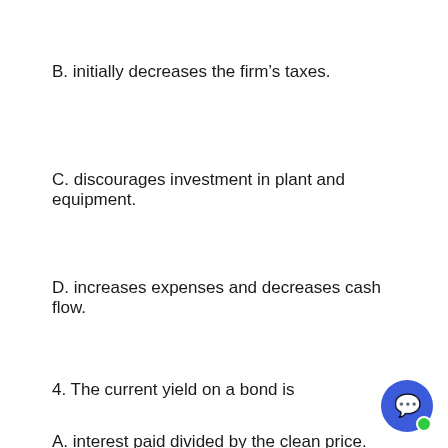B. initially decreases the firm's taxes.
C. discourages investment in plant and equipment.
D. increases expenses and decreases cash flow.
4. The current yield on a bond is
A. interest paid divided by the clean price.